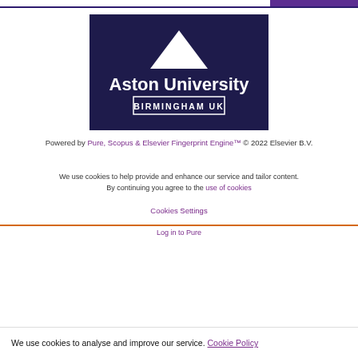[Figure (logo): Aston University Birmingham UK logo on dark navy background]
Powered by Pure, Scopus & Elsevier Fingerprint Engine™ © 2022 Elsevier B.V.
We use cookies to help provide and enhance our service and tailor content. By continuing you agree to the use of cookies
Cookies Settings
Log in to Pure
We use cookies to analyse and improve our service. Cookie Policy